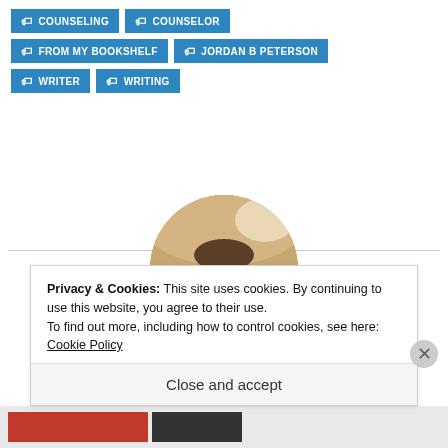COUNSELING
COUNSELOR
FROM MY BOOKSHELF
JORDAN B PETERSON
WRITER
WRITING
[Figure (photo): Circular profile photo of a man wearing sunglasses, smiling, in a car interior]
Privacy & Cookies: This site uses cookies. By continuing to use this website, you agree to their use.
To find out more, including how to control cookies, see here: Cookie Policy
Close and accept